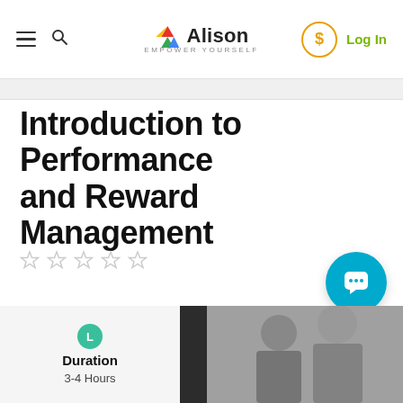Alison — EMPOWER YOURSELF | Log In
Introduction to Performance and Reward Management
[Figure (other): Five empty star rating icons in a row]
[Figure (other): Teal chat/message bubble button (round, bottom right)]
[Figure (other): Duration card with teal 'L' icon, showing 3-4 Hours, beside a photo of two men in suits]
Duration
3-4 Hours